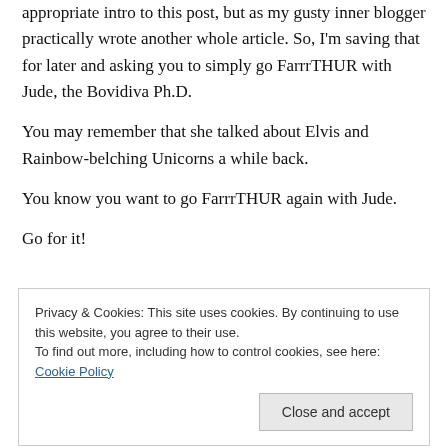appropriate intro to this post, but as my gusty inner blogger practically wrote another whole article. So, I'm saving that for later and asking you to simply go FarrrTHUR with Jude, the Bovidiva Ph.D.
You may remember that she talked about Elvis and Rainbow-belching Unicorns a while back.
You know you want to go FarrrTHUR again with Jude.
Go for it!
Privacy & Cookies: This site uses cookies. By continuing to use this website, you agree to their use.
To find out more, including how to control cookies, see here: Cookie Policy
Pingback: FarrrTHUR 23: Would Being Vegan Really